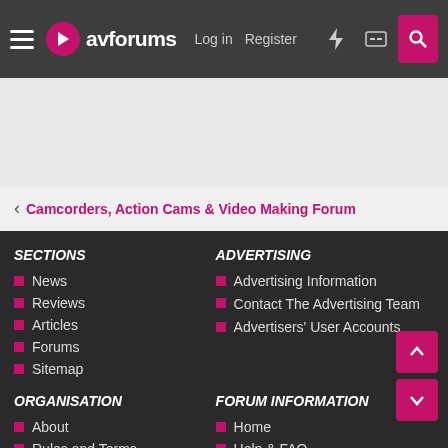avforums — Log in | Register
< Camcorders, Action Cams & Video Making Forum
SECTIONS
News
Reviews
Articles
Forums
Sitemap
ADVERTISING
Advertising Information
Contact The Advertising Team
Advertisers' User Accounts
ORGANISATION
About
Rules and Terms
FORUM INFORMATION
Home
Help & FAQ